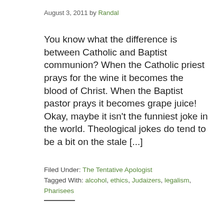August 3, 2011 by Randal
You know what the difference is between Catholic and Baptist communion? When the Catholic priest prays for the wine it becomes the blood of Christ. When the Baptist pastor prays it becomes grape juice! Okay, maybe it isn't the funniest joke in the world. Theological jokes do tend to be a bit on the stale [...]
Filed Under: The Tentative Apologist
Tagged With: alcohol, ethics, Judaizers, legalism, Pharisees